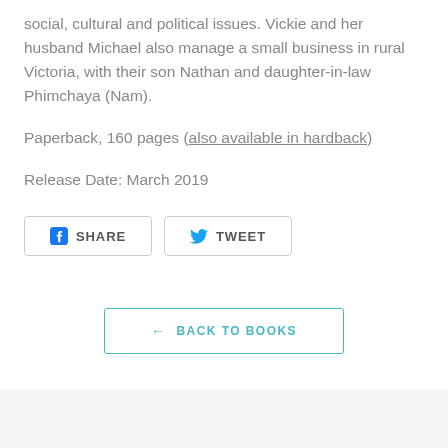social, cultural and political issues. Vickie and her husband Michael also manage a small business in rural Victoria, with their son Nathan and daughter-in-law Phimchaya (Nam).
Paperback, 160 pages (also available in hardback)
Release Date: March 2019
[Figure (other): Social share buttons: Facebook SHARE button and Twitter TWEET button]
← BACK TO BOOKS